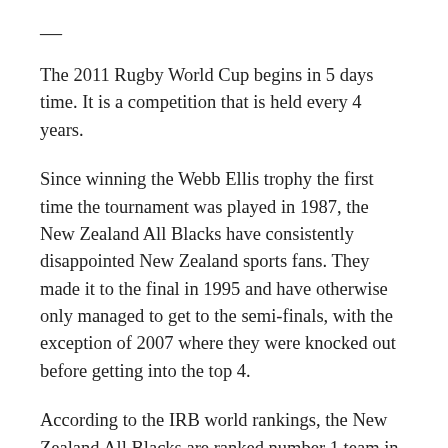—
The 2011 Rugby World Cup begins in 5 days time. It is a competition that is held every 4 years.
Since winning the Webb Ellis trophy the first time the tournament was played in 1987, the New Zealand All Blacks have consistently disappointed New Zealand sports fans. They made it to the final in 1995 and have otherwise only managed to get to the semi-finals, with the exception of 2007 where they were knocked out before getting into the top 4.
According to the IRB world rankings, the New Zealand All Blacks are ranked number 1 team in the world going into the upcoming tournament. I believe they've been ranked number 1 before many of the world cups they